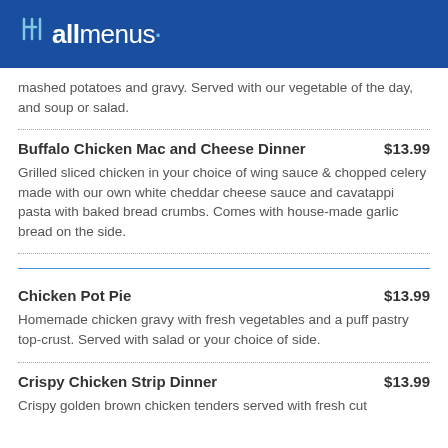allmenus
mashed potatoes and gravy. Served with our vegetable of the day, and soup or salad.
Buffalo Chicken Mac and Cheese Dinner $13.99 — Grilled sliced chicken in your choice of wing sauce & chopped celery made with our own white cheddar cheese sauce and cavatappi pasta with baked bread crumbs. Comes with house-made garlic bread on the side.
Chicken Pot Pie $13.99 — Homemade chicken gravy with fresh vegetables and a puff pastry top-crust. Served with salad or your choice of side.
Crispy Chicken Strip Dinner $13.99 — Crispy golden brown chicken tenders served with fresh cut...